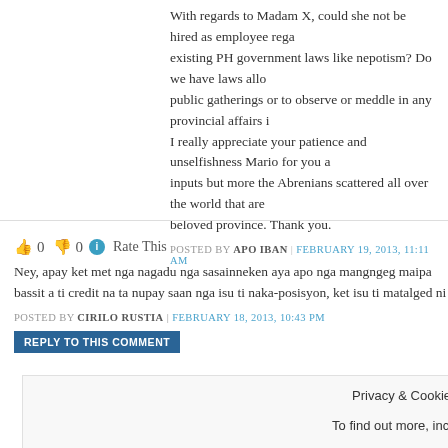With regards to Madam X, could she not be hired as employee regarding existing PH government laws like nepotism? Do we have laws allowing public gatherings or to observe or meddle in any provincial affairs in... I really appreciate your patience and unselfishness Mario for you and inputs but more the Abrenians scattered all over the world that are beloved province. Thank you.
POSTED BY APO IBAN | FEBRUARY 19, 2013, 11:11 AM
👍 0 👎 0 ℹ Rate This
Ney, apay ket met nga nagadu nga sasainneken aya apo nga mangngeg maipa bassit a ti credit na ta nupay saan nga isu ti naka-posisyon, ket isu ti matalged ni
POSTED BY CIRILO RUSTIA | FEBRUARY 18, 2013, 10:43 PM
REPLY TO THIS COMMENT
Privacy & Cookies: This site uses cookies. By continuing to use this website, you agree to their use. To find out more, including how to control cookies, see here: Cookie Policy
Close and accept